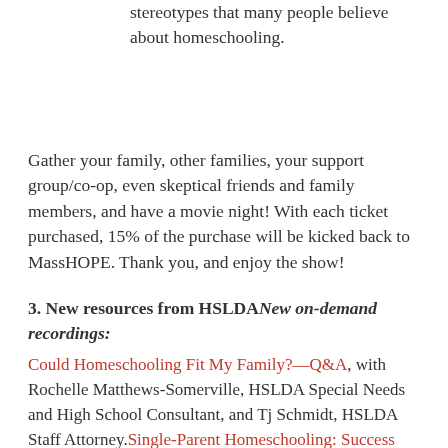Breaking down the misconceptions and negative stereotypes that many people believe about homeschooling.
Gather your family, other families, your support group/co-op, even skeptical friends and family members, and have a movie night! With each ticket purchased, 15% of the purchase will be kicked back to MassHOPE. Thank you, and enjoy the show!
3. New resources from HSLDANew on-demand recordings:
Could Homeschooling Fit My Family?—Q&A, with Rochelle Matthews-Somerville, HSLDA Special Needs and High School Consultant, and Tj Schmidt, HSLDA Staff Attorney.Single-Parent Homeschooling: Success Strategies—Q&A, with Kim Sorgius, Not Consumed community founder, and Erin Eskew, Have Soldier: Will Travel blog.Helping Your Child